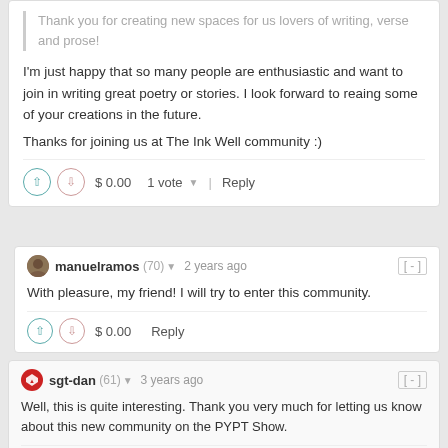Thank you for creating new spaces for us lovers of writing, verse and prose!
I'm just happy that so many people are enthusiastic and want to join in writing great poetry or stories. I look forward to reaing some of your creations in the future.
Thanks for joining us at The Ink Well community :)
$ 0.00   1 vote ▾   Reply
manuelramos (70) ▾   2 years ago   [-]
With pleasure, my friend! I will try to enter this community.
$ 0.00   Reply
sgt-dan (61) ▾   3 years ago   [-]
Well, this is quite interesting. Thank you very much for letting us know about this new community on the PYPT Show.
$ 0.00   Reply